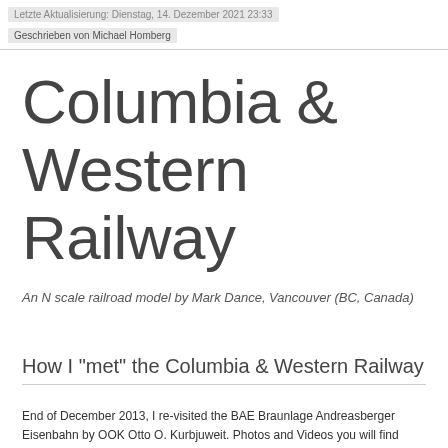Letzte Aktualisierung: Dienstag, 14. Dezember 2021 23:33
Geschrieben von Michael Homberg
Columbia & Western Railway
An N scale railroad model by Mark Dance, Vancouver (BC, Canada)
How I "met" the Columbia & Western Railway
End of December 2013, I re-visited the BAE Braunlage Andreasberger Eisenbahn by OOK Otto O. Kurbjuweit. Photos and Videos you will find